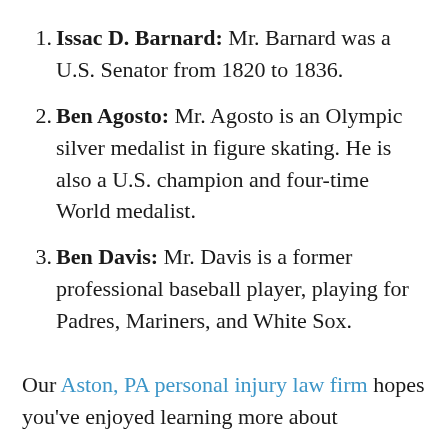Issac D. Barnard: Mr. Barnard was a U.S. Senator from 1820 to 1836.
Ben Agosto: Mr. Agosto is an Olympic silver medalist in figure skating. He is also a U.S. champion and four-time World medalist.
Ben Davis: Mr. Davis is a former professional baseball player, playing for Padres, Mariners, and White Sox.
Our Aston, PA personal injury law firm hopes you've enjoyed learning more about